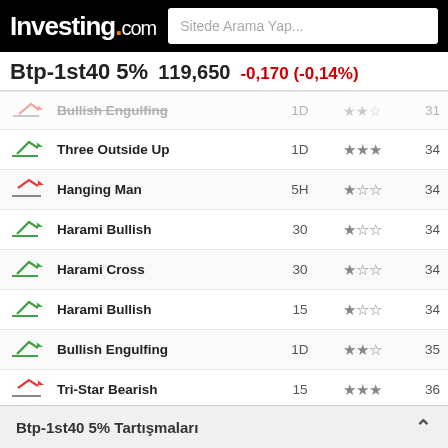Investing.com — Sitede Arama Yap...
Btp-1st40 5% 119,650 -0,170 (-0,14%)
| Icon | Pattern | Period | Stars | Value |
| --- | --- | --- | --- | --- |
| ↗ (bear) | Bullish Engulfing | 1D | ★★★ | 31 |
| ↗ (bull) | Three Outside Up | 1D | ★★★ | 34 |
| ↘ (bear) | Hanging Man | 5H | ★☆☆ | 34 |
| ↗ (bull) | Harami Bullish | 30 | ★☆☆ | 34 |
| ↗ (bull) | Harami Cross | 30 | ★☆☆ | 34 |
| ↗ (bull) | Harami Bullish | 15 | ★☆☆ | 34 |
| ↗ (bull) | Bullish Engulfing | 1D | ★★☆ | 35 |
| ↘ (bear) | Tri-Star Bearish | 15 | ★★★ | 36 |
| ↘ (bear) | Gravestone Doji | 1H | ★★☆ | 37 |
| ↘ (bear) | Three Black Crows | 1H | ★★★ | 40 |
| ↗ (bull) | Abandoned Baby Bullish | 30 | ★★★ | 40 |
| ↘ (bear) | Engulfing Bearish | 1M | ★★☆ | 42 |
| ↘ (bear) | Belt Hold Bearish | 1D | ★☆☆ | 42 |
| ↘ (bear) | Dark Cloud Cover | 1D | ★★★ | 42 |
| ↘ (bear) | Belt Hold | ... | ... | ... |
| ↘ (bear) | Dark Clo... | ... | ... | ... |
Btp-1st40 5% Tartışmaları